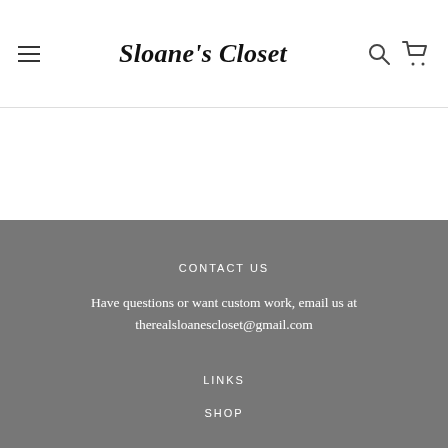Sloane's Closet
CONTACT US
Have questions or want custom work, email us at therealsloanescloset@gmail.com
LINKS
SHOP